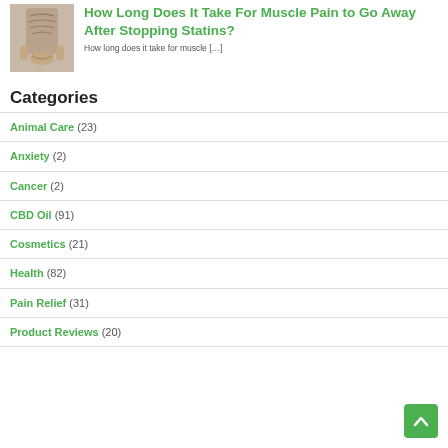[Figure (photo): Photo of person's tattooed back with hands clasped behind their back]
How Long Does It Take For Muscle Pain to Go Away After Stopping Statins?
How long does it take for muscle […]
Categories
Animal Care (23)
Anxiety (2)
Cancer (2)
CBD Oil (91)
Cosmetics (21)
Health (82)
Pain Relief (31)
Product Reviews (20)